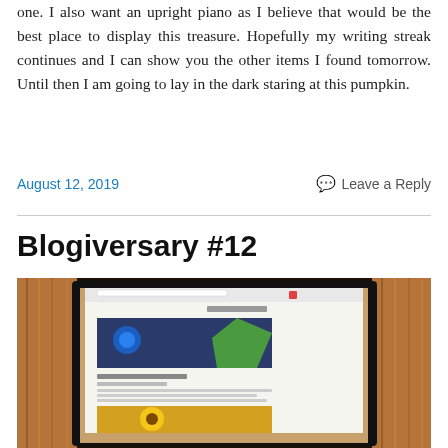one. I also want an upright piano as I believe that would be the best place to display this treasure. Hopefully my writing streak continues and I can show you the other items I found tomorrow. Until then I am going to lay in the dark staring at this pumpkin.
August 12, 2019    Leave a Reply
Blogiversary #12
[Figure (photo): A computer monitor displaying a blog webpage, photographed at an angle, with a wooden background visible around the screen. The screen shows a website with a bird image and a sunflower photo.]